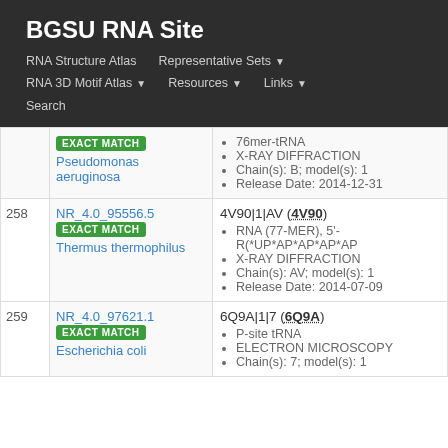BGSU RNA Site
RNA Structure Atlas | Representative Sets | RNA 3D Motif Atlas | Resources | Links | Search
| # | ID / Match / Organism | Entry Details |
| --- | --- | --- |
|  | NR_4.0_95556.5 EXACT MATCH Pseudomonas aeruginosa | 76mer-tRNA • X-RAY DIFFRACTION • Chain(s): B; model(s): 1 • Release Date: 2014-12-31 |
| 258 | NR_4.0_95556.5 EXACT MATCH Thermus thermophilus | 4V90|1|AV (4V90) • RNA (77-MER), 5'-R(*UP*AP*AP*AP*AP... • X-RAY DIFFRACTION • Chain(s): AV; model(s): 1 • Release Date: 2014-07-09 |
| 259 | NR_4.0_97621.1 EXACT MATCH Escherichia coli | 6Q9A|1|7 (6Q9A) • P-site tRNA • ELECTRON MICROSCOPY • Chain(s): 7; model(s): 1 |